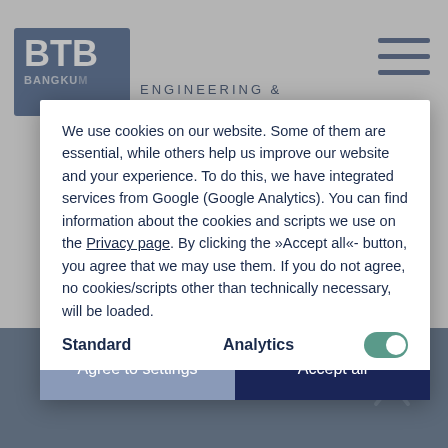[Figure (screenshot): BTB Bangkok Engineering website background with logo, navigation hamburger menu, and gray bottom bar with up arrow]
We use cookies on our website. Some of them are essential, while others help us improve our website and your experience. To do this, we have integrated services from Google (Google Analytics). You can find information about the cookies and scripts we use on the Privacy page. By clicking the »Accept all«- button, you agree that we may use them. If you do not agree, no cookies/scripts other than technically necessary, will be loaded.
Agree to settings
Accept all
Standard
Analytics